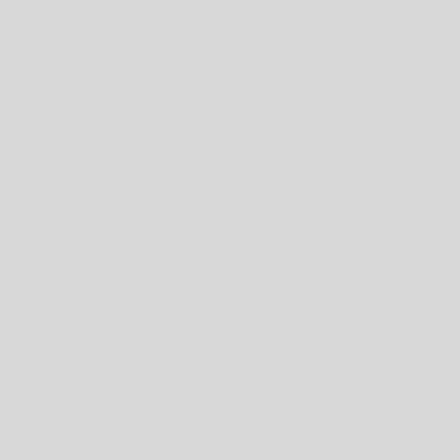service. Let us help w... repair, plumbing or el... yourself why Austinite... their service.
Austin TX Repo...
GillSir IELTS Co...
GillSir is a highly repu... in Maninagar, Ahmad... IELTS, PTE, Spoken ... tests classes such as... GillSir is a highly repu... in Maninagar, Ahmad... IELTS, PTE, Spoken ... tests classes such as...
International Rep...
JM Stationers In...
As celebration specia... everything! We provid... quality die-cut invitati... also carry matching g... place cards and othe... specialists, we help y... provide retailers with... invitations & announ... matching gift tags, ar... and other stationery.
Nationwide US Re...